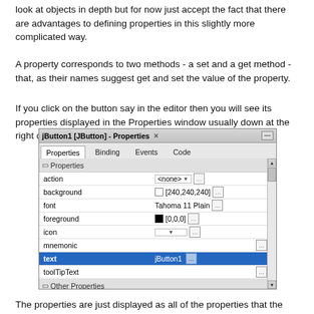look at objects in depth but for now just accept the fact that there are advantages to defining properties in this slightly more complicated way.
A property corresponds to two methods - a set and a get method - that, as their names suggest get and set the value of the property.
If you click on the button say in the editor then you will see its properties displayed in the Properties window usually down at the right of the Netbeans display.
[Figure (screenshot): NetBeans Properties panel showing jButton1 [JButton] - Properties window with tabs: Properties (active), Binding, Events, Code. Properties listed include: action (<none>), background ([240,240,240]), font (Tahoma 11 Plain), foreground ([0,0,0]), icon, mnemonic, text (jButton1, highlighted in blue), toolTipText. Other Properties section shows UIClassID (ButtonUI) and a partially visible row.]
The properties are just displayed as all of the properties that the Butt...